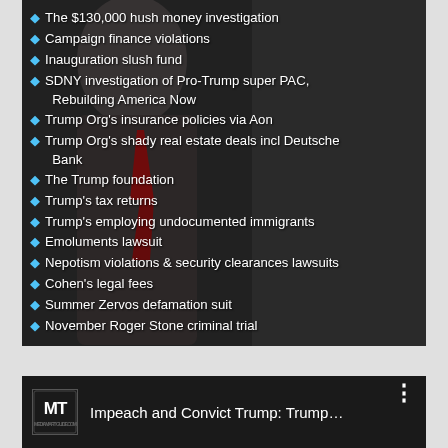The $130,000 hush money investigation
Campaign finance violations
Inauguration slush fund
SDNY investigation of Pro-Trump super PAC, Rebuilding America Now
Trump Org's insurance policies via Aon
Trump Org's shady real estate deals incl Deutsche Bank
The Trump foundation
Trump's tax returns
Trump's employing undocumented immigrants
Emoluments lawsuit
Nepotism violations & security clearances lawsuits
Cohen's legal fees
Summer Zervos defamation suit
November Roger Stone criminal trial
[Figure (screenshot): Video thumbnail showing MT logo and title 'Impeach and Convict Trump: Trump...' with three-dot menu icon]